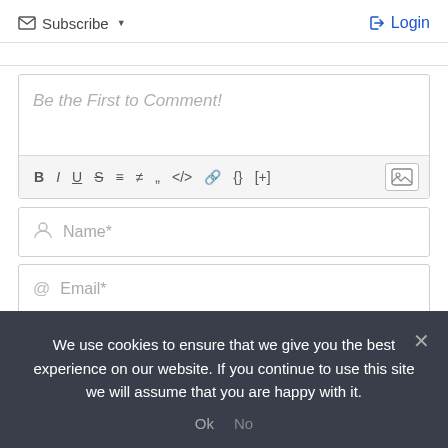[Figure (screenshot): Subscribe button with envelope icon and dropdown arrow on the left, Login button with arrow icon on the right]
[Figure (screenshot): Comment text area with placeholder text 'Be the First to Comment!' and a formatting toolbar below with Bold, Italic, Underline, Strikethrough, ordered list, unordered list, blockquote, code, link, braces, plus, and image buttons]
[Figure (screenshot): Name input field with person icon and placeholder 'Name*']
[Figure (screenshot): Email input field with @ icon and placeholder 'Email*']
We use cookies to ensure that we give you the best experience on our website. If you continue to use this site we will assume that you are happy with it.
Ok  No